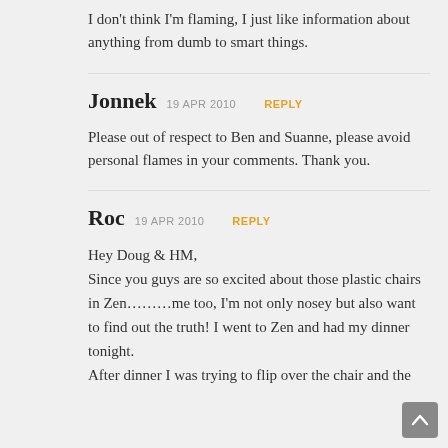I don't think I'm flaming, I just like information about anything from dumb to smart things.
Jonnek 19 APR 2010 REPLY
Please out of respect to Ben and Suanne, please avoid personal flames in your comments. Thank you.
Roc 19 APR 2010 REPLY
Hey Doug & HM,
Since you guys are so excited about those plastic chairs in Zen………me too, I'm not only nosey but also want to find out the truth! I went to Zen and had my dinner tonight.
After dinner I was trying to flip over the chair and the